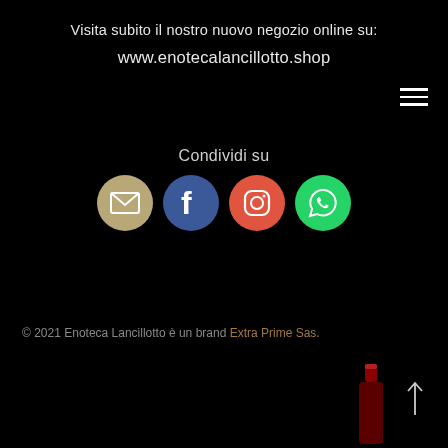Visita subito il nostro nuovo negozio online su:
www.enotecalancillotto.shop
[Figure (other): Hamburger menu icon (three horizontal lines) in top right corner]
Condividi su
[Figure (infographic): Four social media icons in circles: email (tan/beige), Facebook (blue), Instagram (red/orange), WhatsApp (green)]
© 2021 Enoteca Lancillotto è un brand Extra Prime Sas.
[Figure (photo): Partial image of a red wine bottle neck at bottom right, with an upward scroll arrow beside it]